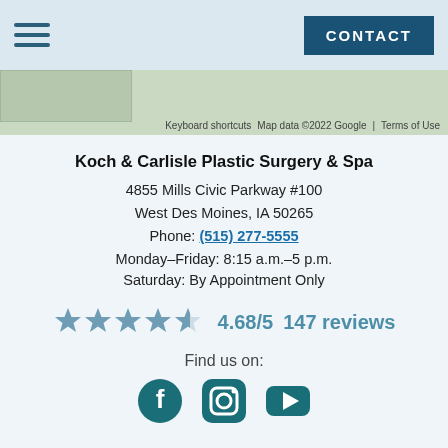[Figure (screenshot): Navigation bar with hamburger menu icon and CONTACT button]
[Figure (map): Google Maps strip showing partial map view with attribution: Keyboard shortcuts, Map data ©2022 Google, Terms of Use]
Koch & Carlisle Plastic Surgery & Spa
4855 Mills Civic Parkway #100
West Des Moines, IA 50265
Phone: (515) 277-5555
Monday–Friday: 8:15 a.m.–5 p.m.
Saturday: By Appointment Only
[Figure (infographic): Star rating display: 4 filled stars and 1 half star, 4.68/5, 147 reviews]
Find us on:
[Figure (illustration): Social media icons: Facebook, Instagram, YouTube]